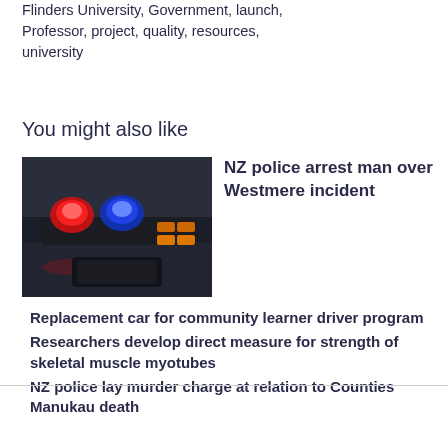Flinders University, Government, launch, Professor, project, quality, resources, university
You might also like
[Figure (photo): Police car light bar with red and blue lights]
NZ police arrest man over Westmere incident
Replacement car for community learner driver program
Researchers develop direct measure for strength of skeletal muscle myotubes
NZ police lay murder charge at relation to Counties Manukau death